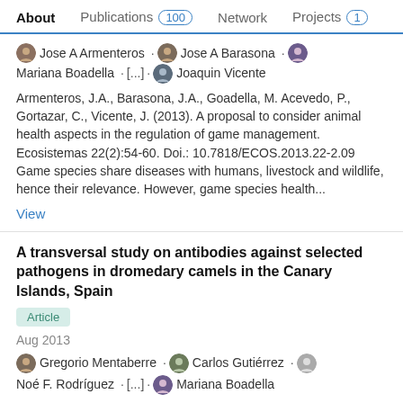About  Publications 100  Network  Projects 1
Jose A Armenteros · Jose A Barasona · Mariana Boadella · [...] · Joaquin Vicente
Armenteros, J.A., Barasona, J.A., Goadella, M. Acevedo, P., Gortazar, C., Vicente, J. (2013). A proposal to consider animal health aspects in the regulation of game management. Ecosistemas 22(2):54-60. Doi.: 10.7818/ECOS.2013.22-2.09 Game species share diseases with humans, livestock and wildlife, hence their relevance. However, game species health...
View
A transversal study on antibodies against selected pathogens in dromedary camels in the Canary Islands, Spain
Article
Aug 2013
Gregorio Mentaberre · Carlos Gutiérrez · Noé F. Rodríguez · [...] · Mariana Boadella
The Canary Islands contain the most important dromedary...